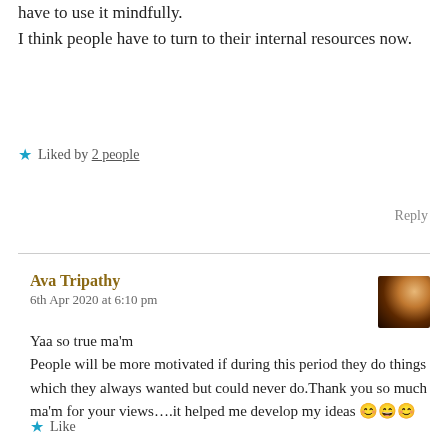have to use it mindfully.
I think people have to turn to their internal resources now.
★ Liked by 2 people
Reply
Ava Tripathy
6th Apr 2020 at 6:10 pm
Yaa so true ma'm
People will be more motivated if during this period they do things which they always wanted but could never do.Thank you so much ma'm for your views….it helped me develop my ideas 😊😄😊
★ Like